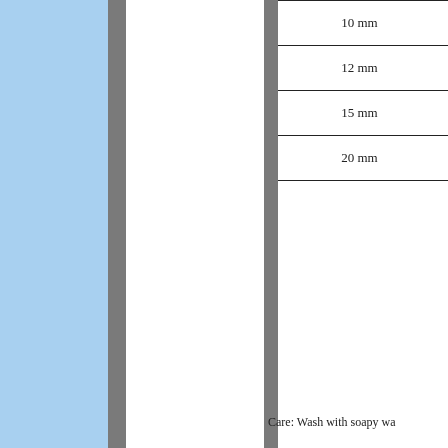[Figure (other): Decorative vertical bars: a light blue bar on the left, flanked by gray bars on both sides]
| 10 mm |
| 12 mm |
| 15 mm |
| 20 mm |
Care: Wash with soapy wa